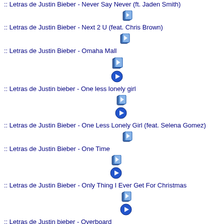:: Letras de Justin Bieber - Next 2 U (feat. Chris Brown)
:: Letras de Justin Bieber - Omaha Mall
:: Letras de Justin bieber - One less lonely girl
:: Letras de Justin Bieber - One Less Lonely Girl (feat. Selena Gomez)
:: Letras de Justin Bieber - One Time
:: Letras de Justin Bieber - Only Thing I Ever Get For Christmas
:: Letras de Justin bieber - Overboard
:: Letras de Justin Bieber - Overboard (feat. Jessica Jarrell)
:: Letras de Justin Bieber - Overboard (feat. Miley Cyrus)